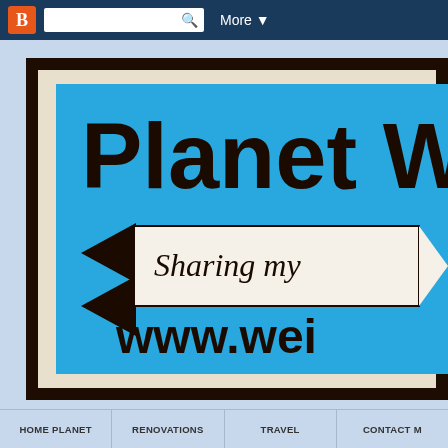Blogger navigation bar with icon, search, and More menu
[Figure (screenshot): Screenshot of a blog website header. A framed banner with a blue background shows 'Planet W' in large bold text, a ribbon graphic with 'Sharing my' italic text, and 'www.wei' in bold. The frame has a dark brown/black border with cream inner mat. A light blue page background surrounds the frame.]
HOME PLANET   RENOVATIONS   TRAVEL   CONTACT M